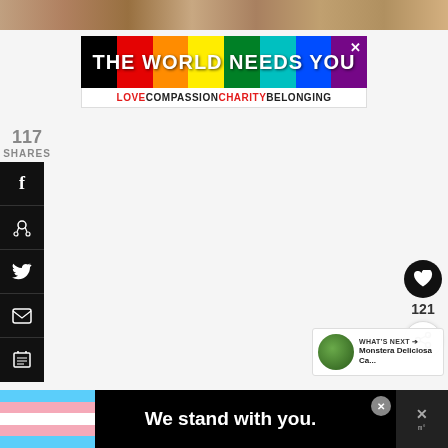[Figure (photo): Top partial image showing gravel or pebbles texture, cropped at page top]
[Figure (infographic): Advertisement banner: 'THE WORLD NEEDS YOU' in white bold text on black background with rainbow color strips, subtext 'LOVE COMPASSION CHARITY BELONGING' in red and black]
117
SHARES
[Figure (infographic): Social sharing sidebar with black background containing icons for Facebook (f), Pinterest (P), Twitter bird, Email (envelope), and Print (printer)]
[Figure (infographic): Floating action buttons: heart icon button (dark), likes count '121', share button (light)]
[Figure (infographic): What's Next widget with plant thumbnail, label 'WHAT'S NEXT' with arrow, title 'Monstera Deliciosa Ca...']
[Figure (infographic): Bottom advertisement banner: rainbow strips on left, 'We stand with you.' in white bold text, close X button, site logo on right]